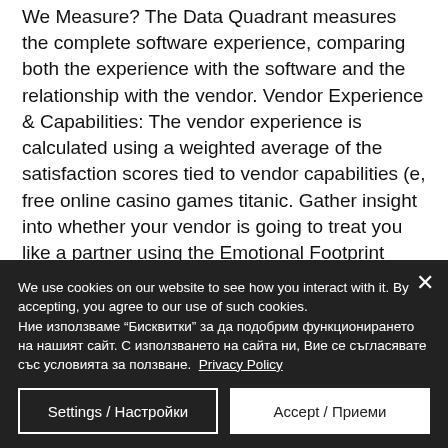We Measure? The Data Quadrant measures the complete software experience, comparing both the experience with the software and the relationship with the vendor. Vendor Experience & Capabilities: The vendor experience is calculated using a weighted average of the satisfaction scores tied to vendor capabilities (e, free online casino games titanic. Gather insight into whether your vendor is going to treat you like a partner using the Emotional Footprint Buyer's Guide.
We use cookies on our website to see how you interact with it. By accepting, you agree to our use of such cookies. Ние използваме "Бисквитки" за да подобрим функционирането на нашият сайт. С използването на сайта ни, Вие се съгласявате със условията за ползване. Privacy Policy
Settings / Настройки
Accept / Приеми